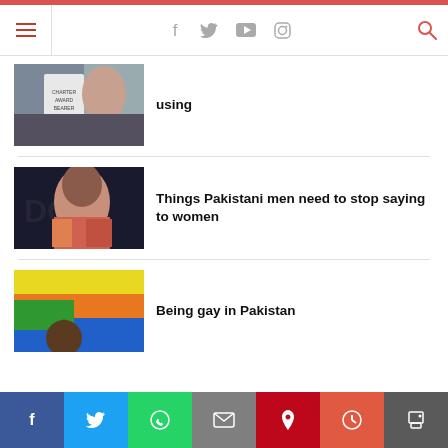Navigation bar with menu, social icons (Facebook, Twitter, YouTube, Instagram), and search
[Figure (photo): Person holding a protest sign with text visible, partially cropped]
using
[Figure (photo): Woman in colorful outfit with background text]
Things Pakistani men need to stop saying to women
[Figure (photo): Person holding rainbow pride flag outdoors]
Being gay in Pakistan
Social share bar: Facebook, Twitter, WhatsApp, Email, Pinterest, More, Print